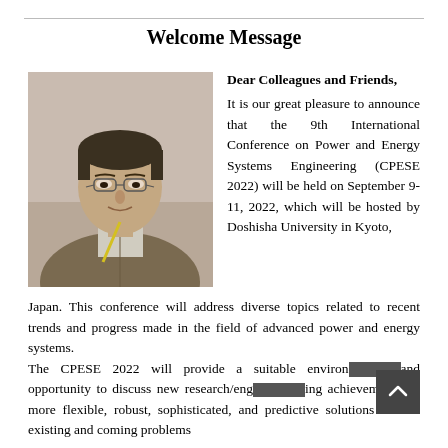Welcome Message
[Figure (photo): Portrait photograph of a middle-aged man with glasses, wearing a brown jacket and yellow lanyard, at a conference setting.]
Dear Colleagues and Friends, It is our great pleasure to announce that the 9th International Conference on Power and Energy Systems Engineering (CPESE 2022) will be held on September 9-11, 2022, which will be hosted by Doshisha University in Kyoto, Japan. This conference will address diverse topics related to recent trends and progress made in the field of advanced power and energy systems. The CPESE 2022 will provide a suitable environment and opportunity to discuss new research/engineering achievements on more flexible, robust, sophisticated, and predictive solutions for the existing and coming problems